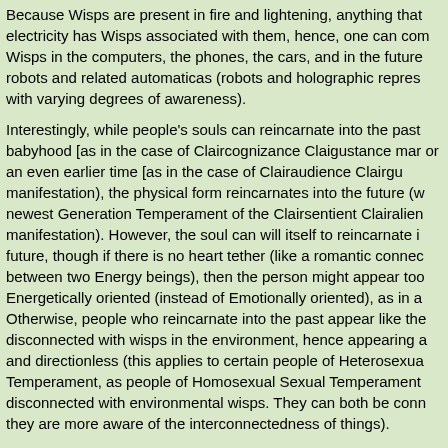Because Wisps are present in fire and lightening, anything that electricity has Wisps associated with them, hence, one can com Wisps in the computers, the phones, the cars, and in the future robots and related automaticas (robots and holographic repres with varying degrees of awareness).
Interestingly, while people's souls can reincarnate into the past babyhood [as in the case of Claircognizance Claigustance mar or an even earlier time [as in the case of Clairaudience Clairgu manifestation), the physical form reincarnates into the future (w newest Generation Temperament of the Clairsentient Clairalie manifestation). However, the soul can will itself to reincarnate i future, though if there is no heart tether (like a romantic connec between two Energy beings), then the person might appear too Energetically oriented (instead of Emotionally oriented), as in a Otherwise, people who reincarnate into the past appear like the disconnected with wisps in the environment, hence appearing a and directionless (this applies to certain people of Heterosexua Temperament, as people of Homosexual Sexual Temperament disconnected with environmental wisps. They can both be conn they are more aware of the interconnectedness of things).
https://www.personalitycafe.com/thre...-body.1200674/
https://www.personalitycafe.com/thre...-body.1351312/